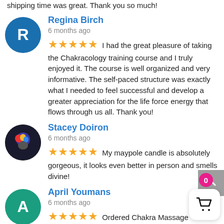shipping time was great. Thank you so much!
Regina Birch
6 months ago
★★★★★ I had the great pleasure of taking the Chakracology training course and I truly enjoyed it. The course is well organized and very informative. The self-paced structure was exactly what I needed to feel successful and develop a greater appreciation for the life force energy that flows through us all. Thank you!
Stacey Doiron
6 months ago
★★★★★ My maypole candle is absolutely gorgeous, it looks even better in person and smells divine!
April Youmans
6 months ago
★★★★★ Ordered Chakra Massage Oil:Smells amazing! Not greasy after rubbing in. Quick shipping/ packed well due to being liquid!